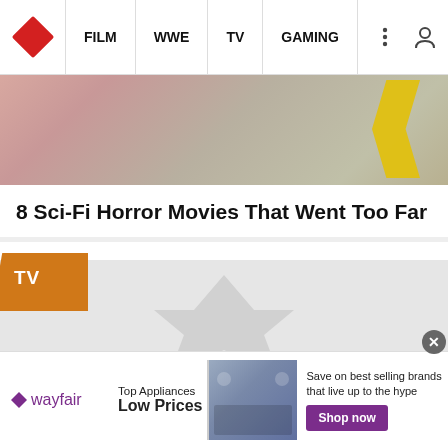FILM | WWE | TV | GAMING
[Figure (screenshot): WhatCulture website article card showing sci-fi horror image strip at top]
8 Sci-Fi Horror Movies That Went Too Far
[Figure (screenshot): WhatCulture article card placeholder with TV badge and WhatCulture.com watermark logo]
[Figure (screenshot): Wayfair advertisement banner: Top Appliances Low Prices, Save on best selling brands that live up to the hype, Shop now button]